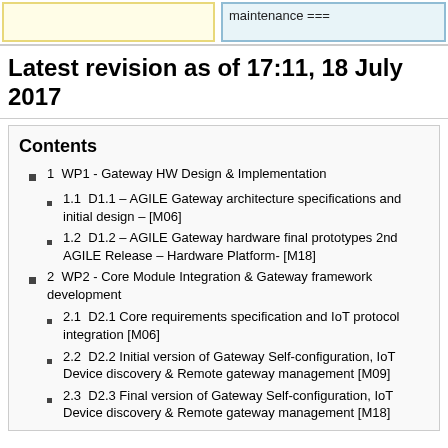maintenance ===
Latest revision as of 17:11, 18 July 2017
Contents
1  WP1 - Gateway HW Design & Implementation
1.1  D1.1 – AGILE Gateway architecture specifications and initial design – [M06]
1.2  D1.2 – AGILE Gateway hardware final prototypes 2nd AGILE Release – Hardware Platform- [M18]
2  WP2 - Core Module Integration & Gateway framework development
2.1  D2.1 Core requirements specification and IoT protocol integration [M06]
2.2  D2.2 Initial version of Gateway Self-configuration, IoT Device discovery & Remote gateway management [M09]
2.3  D2.3 Final version of Gateway Self-configuration, IoT Device discovery & Remote gateway management [M18]